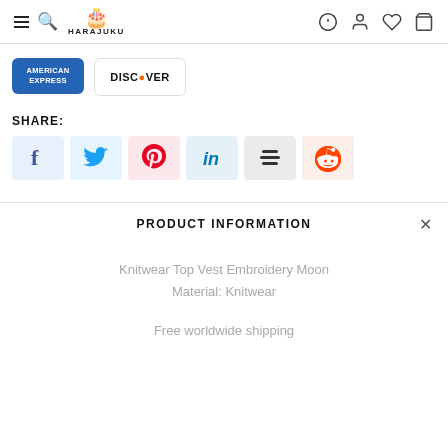HARAJUKU
[Figure (logo): American Express payment card logo (blue background, white text)]
[Figure (logo): Discover payment card logo with orange dot]
SHARE:
[Figure (infographic): Social share buttons: Facebook, Twitter, Pinterest, LinkedIn, Buffer, Reddit]
PRODUCT INFORMATION
Knitwear Top Vest Embroidery Moon
Material: Knitwear
Free worldwide shipping